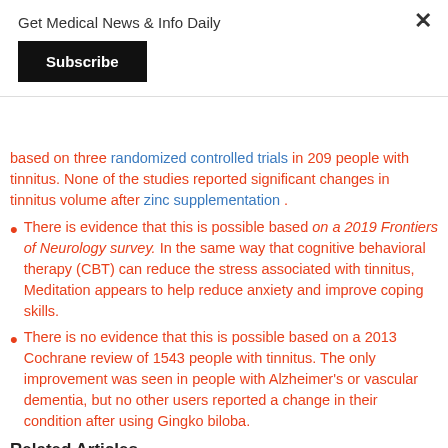Get Medical News & Info Daily
Subscribe
based on three randomized controlled trials in 209 people with tinnitus. None of the studies reported significant changes in tinnitus volume after zinc supplementation .
There is evidence that this is possible based on a 2019 Frontiers of Neurology survey. In the same way that cognitive behavioral therapy (CBT) can reduce the stress associated with tinnitus, Meditation appears to help reduce anxiety and improve coping skills.
There is no evidence that this is possible based on a 2013 Cochrane review of 1543 people with tinnitus. The only improvement was seen in people with Alzheimer's or vascular dementia, but no other users reported a change in their condition after using Gingko biloba.
Related Articles